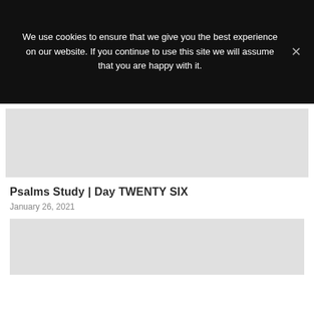We use cookies to ensure that we give you the best experience on our website. If you continue to use this site we will assume that you are happy with it.
[Figure (photo): Gray placeholder image block at top of article card]
Psalms Study | Day TWENTY SIX
January 26, 2021
[Figure (photo): Gray placeholder image block at bottom of article card]